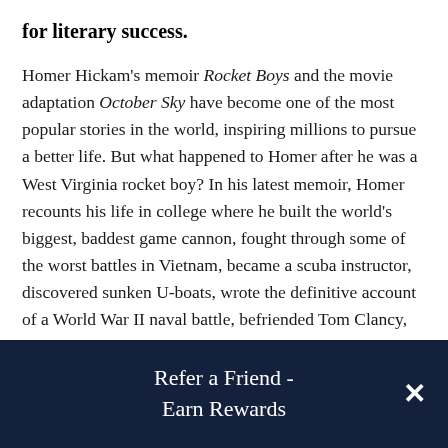for literary success.
Homer Hickam's memoir Rocket Boys and the movie adaptation October Sky have become one of the most popular stories in the world, inspiring millions to pursue a better life. But what happened to Homer after he was a West Virginia rocket boy? In his latest memoir, Homer recounts his life in college where he built the world's biggest, baddest game cannon, fought through some of the worst battles in Vietnam, became a scuba instructor, discovered sunken U-boats, wrote the definitive account of a World War II naval battle, befriended Tom Clancy, made a desperate attempt to save the passengers of a sunken river boat, trained the first Japanese astronauts,
Refer a Friend - Earn Rewards